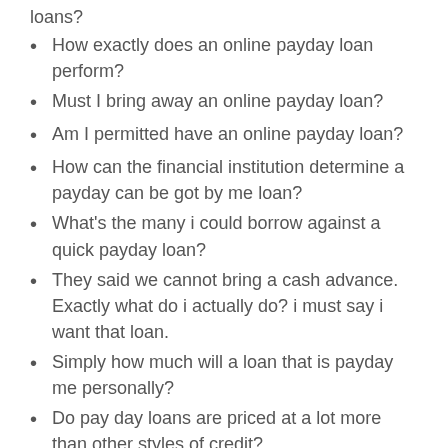loans?
How exactly does an online payday loan perform?
Must I bring away an online payday loan?
Am I permitted have an online payday loan?
How can the financial institution determine a payday can be got by me loan?
What's the many i could borrow against a quick payday loan?
They said we cannot bring a cash advance. Exactly what do i actually do? i must say i want that loan.
Simply how much will a loan that is payday me personally?
Do pay day loans are priced at a lot more than other styles of credit?
Do the payday loan provider have actually to inform me personally simply how much my loan shall are priced at?
Are there any other charges?
Get help that is legal
) What does payday loans mean?